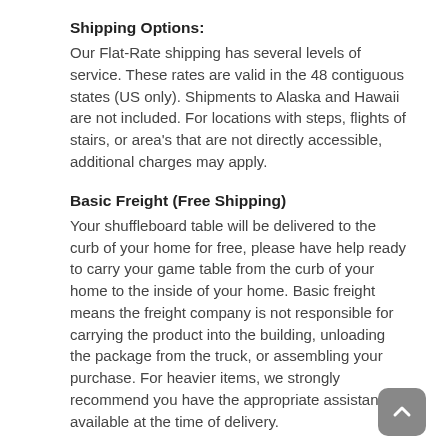Shipping Options:
Our Flat-Rate shipping has several levels of service. These rates are valid in the 48 contiguous states (US only). Shipments to Alaska and Hawaii are not included. For locations with steps, flights of stairs, or area's that are not directly accessible, additional charges may apply.
Basic Freight (Free Shipping)
Your shuffleboard table will be delivered to the curb of your home for free, please have help ready to carry your game table from the curb of your home to the inside of your home. Basic freight means the freight company is not responsible for carrying the product into the building, unloading the package from the truck, or assembling your purchase. For heavier items, we strongly recommend you have the appropriate assistance available at the time of delivery.
Standard In-Home Installation
Local game table installers will arrive to your property to un-crate your shuffleboard, move it into the room of choice, install, level your table, and remove the few